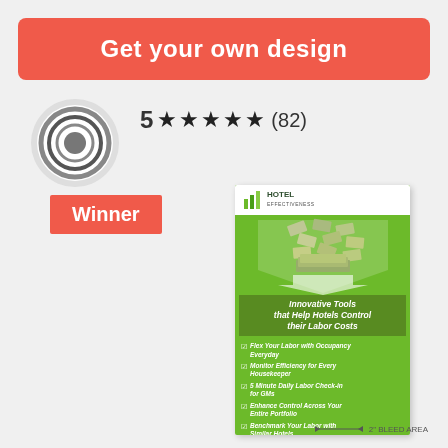Get your own design
[Figure (illustration): Circular concentric ring logo/badge on gray background]
5 ★★★★★ (82)
Winner
[Figure (illustration): Hotel Effectiveness promotional brochure with green background showing money/bills graphic, shield arrow shape, and list of innovative tools to help hotels control labor costs. Includes checkmark list items: Flex Your Labor with Occupancy Everyday, Monitor Efficiency for Every Housekeeper, 5 Minute Daily Labor Check-in for GMs, Enhance Control Across Your Entire Portfolio, Benchmark Your Labor with Similar Hotels. Footer shows (877) 770-HOTEL and www.HotelEffectiveness.com]
2" BLEED AREA